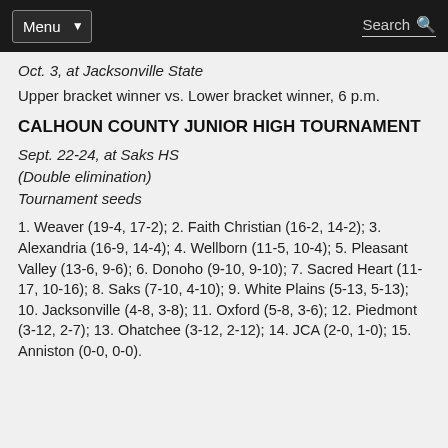Menu  Search
Oct. 3, at Jacksonville State
Upper bracket winner vs. Lower bracket winner, 6 p.m.
CALHOUN COUNTY JUNIOR HIGH TOURNAMENT
Sept. 22-24, at Saks HS
(Double elimination)
Tournament seeds
1. Weaver (19-4, 17-2); 2. Faith Christian (16-2, 14-2); 3. Alexandria (16-9, 14-4); 4. Wellborn (11-5, 10-4); 5. Pleasant Valley (13-6, 9-6); 6. Donoho (9-10, 9-10); 7. Sacred Heart (11-17, 10-16); 8. Saks (7-10, 4-10); 9. White Plains (5-13, 5-13); 10. Jacksonville (4-8, 3-8); 11. Oxford (5-8, 3-6); 12. Piedmont (3-12, 2-7); 13. Ohatchee (3-12, 2-12); 14. JCA (2-0, 1-0); 15. Anniston (0-0, 0-0).